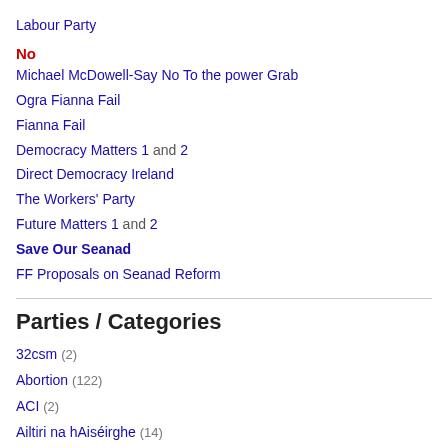Labour Party
No
Michael McDowell-Say No To the power Grab
Ogra Fianna Fail
Fianna Fail
Democracy Matters 1 and 2
Direct Democracy Ireland
The Workers' Party
Future Matters 1 and 2
Save Our Seanad
FF Proposals on Seanad Reform
Parties / Categories
32csm (2)
Abortion (122)
ACI (2)
Ailtiri na hAiséirghe (14)